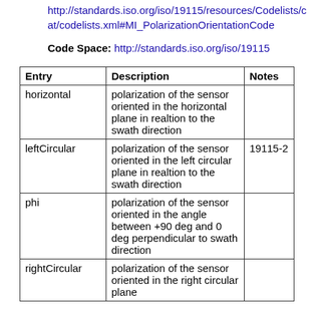http://standards.iso.org/iso/19115/resources/Codelists/cat/codelists.xml#MI_PolarizationOrientationCode
Code Space: http://standards.iso.org/iso/19115
| Entry | Description | Notes |
| --- | --- | --- |
| horizontal | polarization of the sensor oriented in the horizontal plane in realtion to the swath direction |  |
| leftCircular | polarization of the sensor oriented in the left circular plane in realtion to the swath direction | 19115-2 |
| phi | polarization of the sensor oriented in the angle between +90 deg and 0 deg perpendicular to swath direction |  |
| rightCircular | polarization of the sensor oriented in the right circular plane |  |